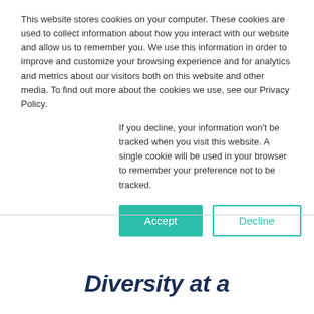This website stores cookies on your computer. These cookies are used to collect information about how you interact with our website and allow us to remember you. We use this information in order to improve and customize your browsing experience and for analytics and metrics about our visitors both on this website and other media. To find out more about the cookies we use, see our Privacy Policy.
If you decline, your information won’t be tracked when you visit this website. A single cookie will be used in your browser to remember your preference not to be tracked.
Accept | Decline
<< Return to the Series Page
Diversity at a